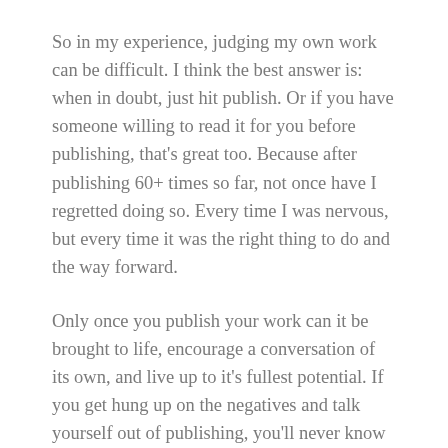So in my experience, judging my own work can be difficult. I think the best answer is: when in doubt, just hit publish. Or if you have someone willing to read it for you before publishing, that's great too. Because after publishing 60+ times so far, not once have I regretted doing so. Every time I was nervous, but every time it was the right thing to do and the way forward.
Only once you publish your work can it be brought to life, encourage a conversation of its own, and live up to it's fullest potential. If you get hung up on the negatives and talk yourself out of publishing, you'll never know what could have been.
Just push through and post it anyway.
That's all for this one. What did you think? Share your…